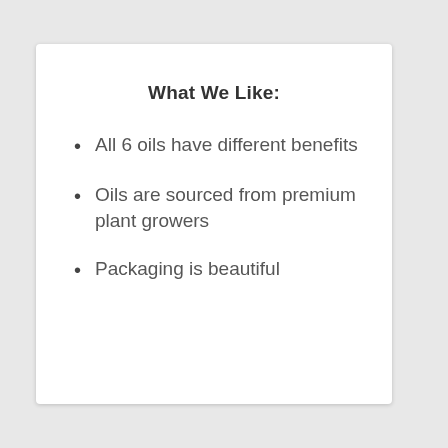What We Like:
All 6 oils have different benefits
Oils are sourced from premium plant growers
Packaging is beautiful